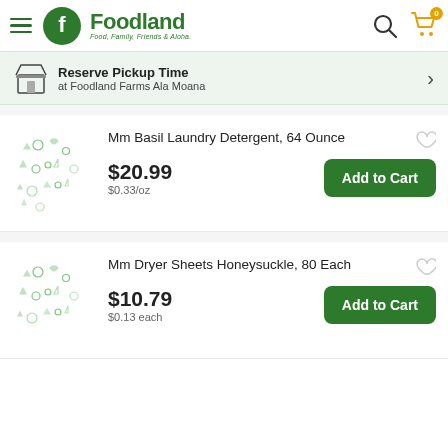Foodland — Food, Family, Friends & Aloha
Reserve Pickup Time at Foodland Farms Ala Moana
Mm Basil Laundry Detergent, 64 Ounce — $20.99 — $0.33/oz
Mm Dryer Sheets Honeysuckle, 80 Each — $10.79 — $0.13 each